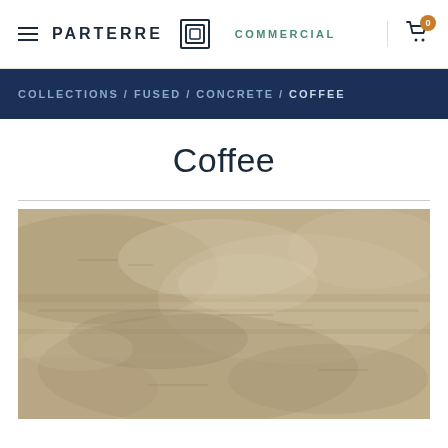PARTERRE COMMERCIAL
COLLECTIONS / FUSED / CONCRETE / COFFEE
Coffee
[Figure (photo): Close-up photo of a concrete-look vinyl flooring tile in a warm beige/taupe tone with mottled texture, named 'Coffee' from Parterre's Fused Concrete collection.]